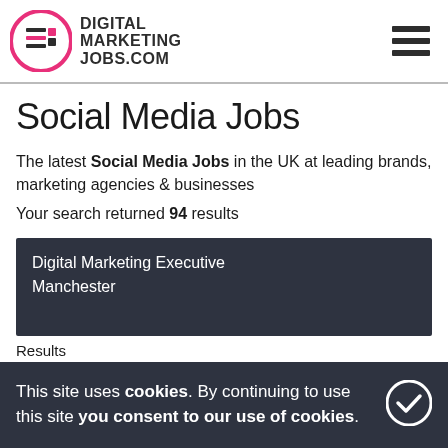DIGITAL MARKETING JOBS.COM
Social Media Jobs
The latest Social Media Jobs in the UK at leading brands, marketing agencies & businesses
Your search returned 94 results
Digital Marketing Executive
Manchester
Results
FEATURED
eCommerce Manager - Luxury
This site uses cookies. By continuing to use this site you consent to our use of cookies.